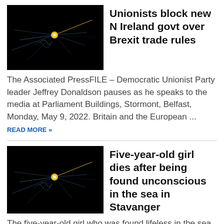[Figure (photo): Dark background with glowing yellow dot and blue lines forming a network/trajectory pattern]
Unionists block new N Ireland govt over Brexit trade rules
The Associated PressFILE – Democratic Unionist Party leader Jeffrey Donaldson pauses as he speaks to the media at Parliament Buildings, Stormont, Belfast, Monday, May 9, 2022. Britain and the European ... READ MORE »
[Figure (photo): Dark background with glowing yellow dot and blue lines forming a network/trajectory pattern]
Five-year-old girl dies after being found unconscious in the sea in Stavanger
The five-year-old girl who was found lifeless in the sea in Stavanger on Thursday night was declared dead at the hospital on Friday. The police do not